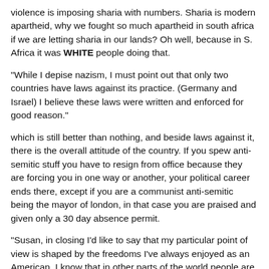violence is imposing sharia with numbers. Sharia is modern apartheid, why we fought so much apartheid in south africa if we are letting sharia in our lands? Oh well, because in S. Africa it was WHITE people doing that.
"While I depise nazism, I must point out that only two countries have laws against its practice. (Germany and Israel) I believe these laws were written and enforced for good reason."
which is still better than nothing, and beside laws against it, there is the overall attitude of the country. If you spew anti-semitic stuff you have to resign from office because they are forcing you in one way or another, your political career ends there, except if you are a communist anti-semitic being the mayor of london, in that case you are praised and given only a 30 day absence permit.
"Susan, in closing I'd like to say that my particular point of view is shaped by the freedoms I've always enjoyed as an American. I know that in other parts of the world people are not allowed to see the gray between black and white. "
it you fall into the relativist trap, I repeat my last sentence of the previous post. To me the gray area could be satanists